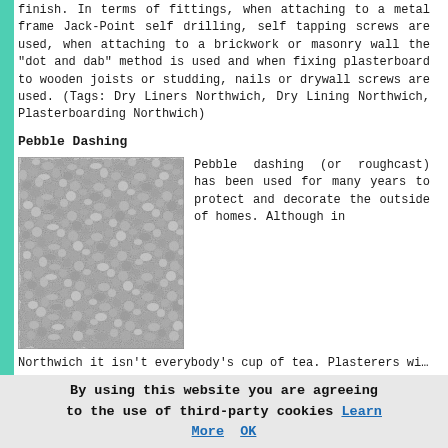finish. In terms of fittings, when attaching to a metal frame Jack-Point self drilling, self tapping screws are used, when attaching to a brickwork or masonry wall the "dot and dab" method is used and when fixing plasterboard to wooden joists or studding, nails or drywall screws are used. (Tags: Dry Liners Northwich, Dry Lining Northwich, Plasterboarding Northwich)
Pebble Dashing
[Figure (photo): Close-up photo of pebble dash / roughcast textured exterior wall surface, grey speckled rough texture.]
Pebble dashing (or roughcast) has been used for many years to protect and decorate the outside of homes. Although in Northwich it isn't everybody's cup of tea. Plasterers will usually carry out this kind of work for you, although there
By using this website you are agreeing to the use of third-party cookies Learn More OK